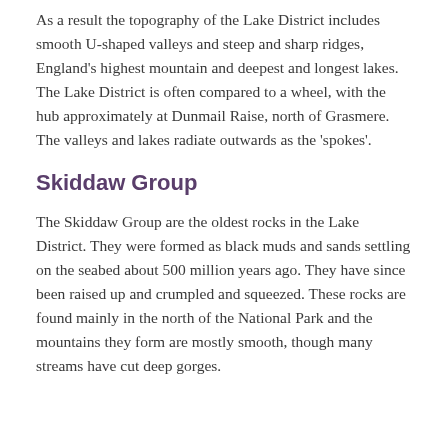As a result the topography of the Lake District includes smooth U-shaped valleys and steep and sharp ridges, England's highest mountain and deepest and longest lakes. The Lake District is often compared to a wheel, with the hub approximately at Dunmail Raise, north of Grasmere. The valleys and lakes radiate outwards as the 'spokes'.
Skiddaw Group
The Skiddaw Group are the oldest rocks in the Lake District. They were formed as black muds and sands settling on the seabed about 500 million years ago. They have since been raised up and crumpled and squeezed. These rocks are found mainly in the north of the National Park and the mountains they form are mostly smooth, though many streams have cut deep gorges.